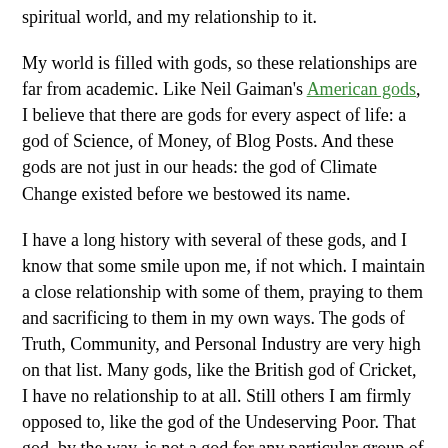spiritual world, and my relationship to it.
My world is filled with gods, so these relationships are far from academic. Like Neil Gaiman's American gods, I believe that there are gods for every aspect of life: a god of Science, of Money, of Blog Posts. And these gods are not just in our heads: the god of Climate Change existed before we bestowed its name.
I have a long history with several of these gods, and I know that some smile upon me, if not which. I maintain a close relationship with some of them, praying to them and sacrificing to them in my own ways. The gods of Truth, Community, and Personal Industry are very high on that list. Many gods, like the British god of Cricket, I have no relationship to at all. Still others I am firmly opposed to, like the god of the Undeserving Poor. That god, by the way, is not a god for any particular group of poor, since they would be deserving of it. Rather, it is a god who throughout the ages has